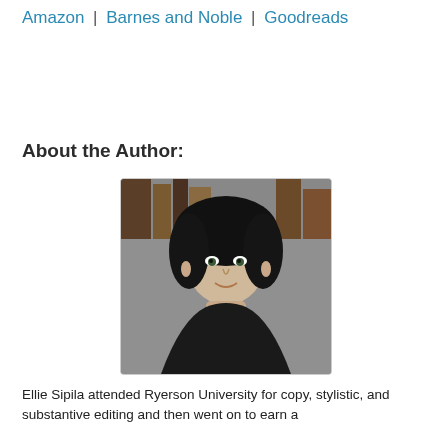Amazon | Barnes and Noble | Goodreads
About the Author:
[Figure (photo): Black and white portrait photo of Ellie Sipila, a woman with dark hair, in front of bookshelves.]
Ellie Sipila attended Ryerson University for copy, stylistic, and substantive editing and then went on to earn a specialization in editing and writing at from...